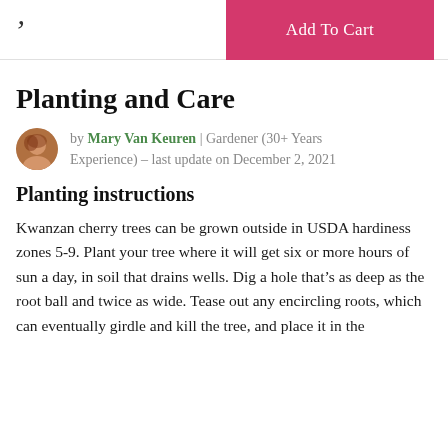Add To Cart
Planting and Care
by Mary Van Keuren | Gardener (30+ Years Experience) – last update on December 2, 2021
Planting instructions
Kwanzan cherry trees can be grown outside in USDA hardiness zones 5-9. Plant your tree where it will get six or more hours of sun a day, in soil that drains wells. Dig a hole that's as deep as the root ball and twice as wide. Tease out any encircling roots, which can eventually girdle and kill the tree, and place it in the